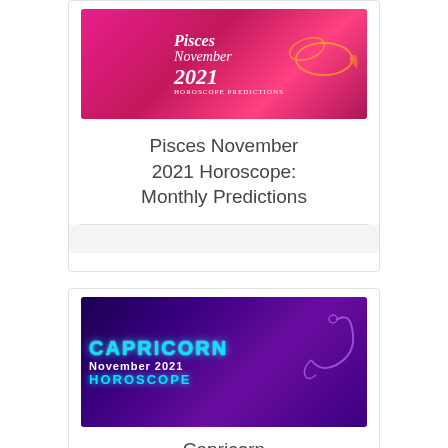[Figure (illustration): Pisces November 2021 Horoscope Predictions banner image with pink/magenta background and fish zodiac symbol]
Pisces November 2021 Horoscope: Monthly Predictions
[Figure (illustration): Capricorn November 2021 Horoscope banner image with dark purple background and neon blue Capricorn text and goat symbol]
Capricorn November 2021 Horoscope: Monthly Predictions